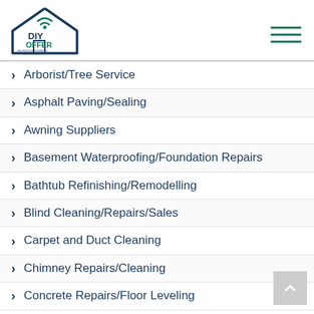[Figure (logo): DIY Offer logo with house outline and wifi signal, text: DIY OFFER, HELPING HOMEOWNERS SELL PRIVATELY]
Arborist/Tree Service
Asphalt Paving/Sealing
Awning Suppliers
Basement Waterproofing/Foundation Repairs
Bathtub Refinishing/Remodelling
Blind Cleaning/Repairs/Sales
Carpet and Duct Cleaning
Chimney Repairs/Cleaning
Concrete Repairs/Floor Leveling